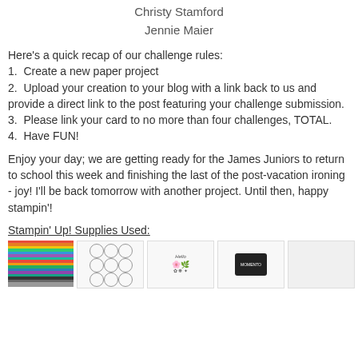Christy Stamford
Jennie Maier
Here's a quick recap of our challenge rules:
1.  Create a new paper project
2.  Upload your creation to your blog with a link back to us and provide a direct link to the post featuring your challenge submission.
3.  Please link your card to no more than four challenges, TOTAL.
4.  Have FUN!
Enjoy your day; we are getting ready for the James Juniors to return to school this week and finishing the last of the post-vacation ironing - joy! I'll be back tomorrow with another project. Until then, happy stampin'!
Stampin' Up! Supplies Used:
[Figure (photo): Row of Stampin Up product images: patterned paper stack, stamp sets, ink pad, and card stock]
[Figure (photo): Stamp set with circles and butterflies]
[Figure (photo): Stamp set with Hello and floral designs]
[Figure (photo): Black ink pad]
[Figure (photo): White card stock]